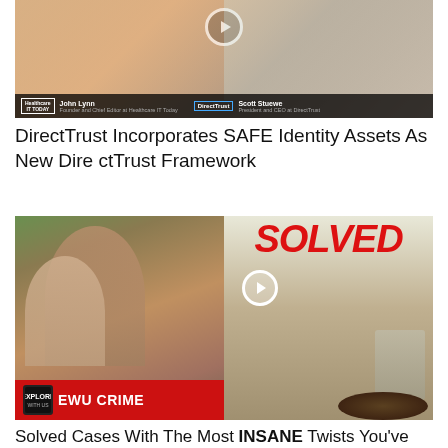[Figure (screenshot): Video thumbnail showing two people in a split screen: John Lynn (Founder and Chief Editor at Healthcare IT Today) on the left and Scott Stuewe (President and CEO at DirectTrust) on the right, with logos for Healthcare IT Today and DirectTrust in a lower bar]
DirectTrust Incorporates SAFE Identity Assets As New DirectTrust Framework
[Figure (photo): Composite image: left half shows EWU Crime thumbnail with two people (adult and child), right half shows word SOLVED in large red text over a photo of a person digging a hole with a play button overlay]
Solved Cases With The Most INSANE Twists You've Ever